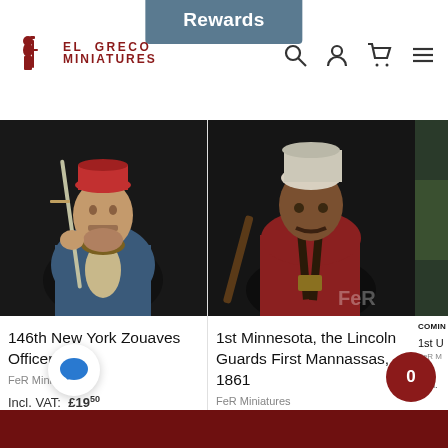El Greco Miniatures — Rewards
[Figure (photo): Painted miniature bust of 146th New York Zouaves Officer in blue uniform with red cap, holding a sword, dark background]
146th New York Zouaves Officer, 1863
FeR Miniatures
Incl. VAT: £19.50
Excl. VAT: £16.25
[Figure (photo): Painted miniature bust of 1st Minnesota Lincoln Guards soldier in red shirt with white head wrap, dark background, FeR watermark]
1st Minnesota, the Lincoln Guards First Mannassas, 1861
FeR Miniatures
Incl. VAT: £19.50
Excl. VAT: £16.25
[Figure (photo): Partial view of third miniature product, green tones, coming soon label]
COMING
1st U... Sharp...
FeR Mi...
Incl. V...
Excl. V...